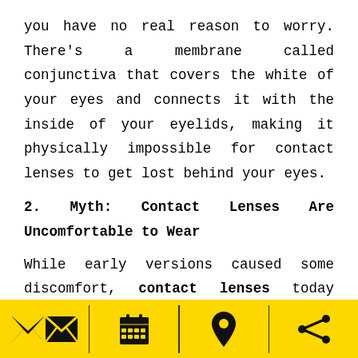you have no real reason to worry. There's a membrane called conjunctiva that covers the white of your eyes and connects it with the inside of your eyelids, making it physically impossible for contact lenses to get lost behind your eyes.
2. Myth: Contact Lenses Are Uncomfortable to Wear
While early versions caused some discomfort, contact lenses today have vastly improved design-wise. Some types are ultra-breathable, while others are designed to be worn for extended periods. It might take a while for your eyes to adjust to the
[email icon] [calendar icon] [location icon] [share icon]